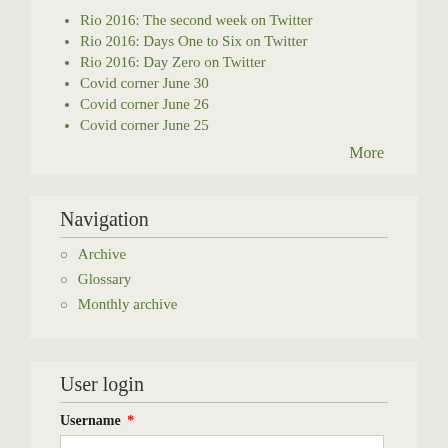Rio 2016: The second week on Twitter
Rio 2016: Days One to Six on Twitter
Rio 2016: Day Zero on Twitter
Covid corner June 30
Covid corner June 26
Covid corner June 25
More
Navigation
Archive
Glossary
Monthly archive
User login
Username *